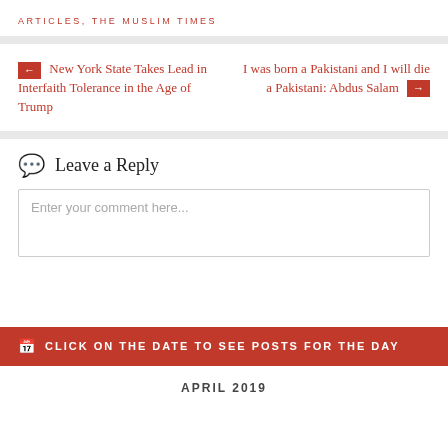ARTICLES, THE MUSLIM TIMES
← New York State Takes Lead in Interfaith Tolerance in the Age of Trump
I was born a Pakistani and I will die a Pakistani: Abdus Salam →
Leave a Reply
Enter your comment here...
CLICK ON THE DATE TO SEE POSTS FOR THE DAY
APRIL 2019